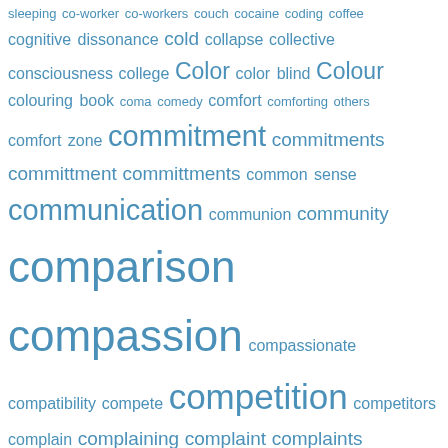[Figure (other): Word cloud / tag cloud of psychology and mental health related terms starting with 'c', displayed in varying font sizes indicating frequency. Terms include: sleeping, co-worker, co-workers, couch, cocaine, coding, coffee, cognitive dissonance, cold, collapse, collective, consciousness, college, Color, color blind, Colour, colouring book, coma, comedy, comfort, comforting others, comfort zone, commitment, commitments, committment, committments, common sense, communication, communion, community, comparison, compassion, compassionate, compatibility, compete, competition, competitors, complain, complaining, complaint, complaints, compliments, composition, comprehension, compromise, compulsion, computers, concentration, concepts, conceptual art, concern, concerns, conclusion, confession, confidence, confirmation bias, conflict, conformity, confused, confusion, congregation, connect, connected, connection, conscious choice, conscious living, consciousness, consensus, consicousness, consideration, consistency, construct, constructs, consumerism, contentment, context, contibute, contrail, contrast, contribution, control, controlling behavior]